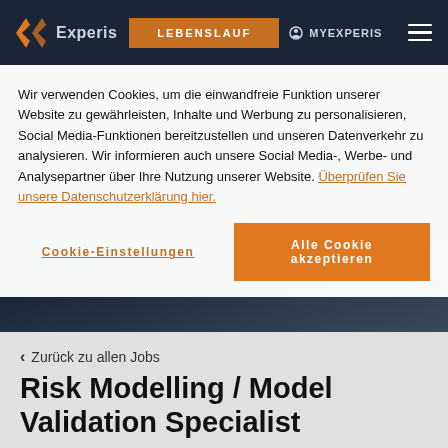[Figure (screenshot): Experis website header with logo, LEBENSLAUF button, MYEXPERIS link, and hamburger menu on dark background]
Wir verwenden Cookies, um die einwandfreie Funktion unserer Website zu gewährleisten, Inhalte und Werbung zu personalisieren, Social Media-Funktionen bereitzustellen und unseren Datenverkehr zu analysieren. Wir informieren auch unsere Social Media-, Werbe- und Analysepartner über Ihre Nutzung unserer Website. Überprüfen Sie unsere Datenschutzerklärung hier.
Cookie-Einstellungen
Alle Cookie akzeptieren
< Zurück zu allen Jobs
Risk Modelling / Model Validation Specialist